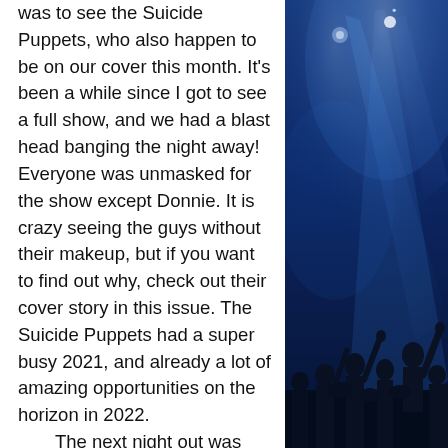was to see the Suicide Puppets, who also happen to be on our cover this month. It's been a while since I got to see a full show, and we had a blast head banging the night away! Everyone was unmasked for the show except Donnie. It is crazy seeing the guys without their makeup, but if you want to find out why, check out their cover story in this issue. The Suicide Puppets had a super busy 2021, and already a lot of amazing opportunities on the horizon in 2022.
    The next night out was another long one. My day started very early from a birthday sleepover with Mason and then with a trip up to Mom's to make Christmas cookies and celebrate her birthday! But on my drive home I couldn't resist, there were too many cool things
[Figure (photo): Concert photo with blue stage lighting, silhouettes of crowd with raised hands, spotlight beams]